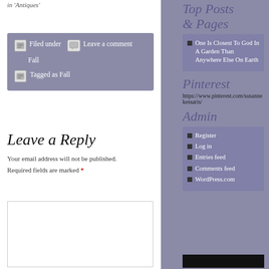in 'Antiques'
Filed under   Leave a comment Fall
Tagged as Fall
Leave a Reply
Your email address will not be published. Required fields are marked *
Top Posts & Pages
One Is Closest To God In A Garden Than Anywhere Else On Earth
Pinterest
https://www.pinterest.com/susannekessaris/
Admin
Register
Log in
Entries feed
Comments feed
WordPress.com